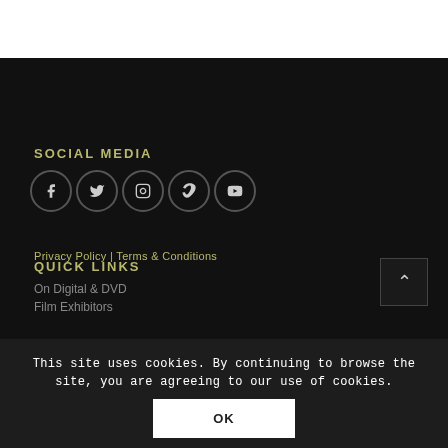SOCIAL MEDIA
[Figure (illustration): Five circular social media icons: Facebook, Twitter, Instagram, Vimeo, YouTube]
Privacy Policy | Terms & Conditions
QUICK LINKS
On Digital & DVD
Film Exhibitors
This site uses cookies. By continuing to browse the site, you are agreeing to our use of cookies.
OK